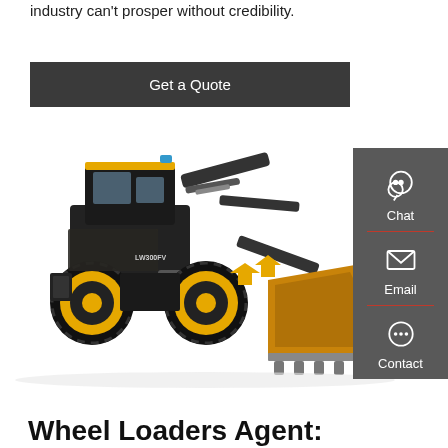industry can't prosper without credibility.
Get a Quote
[Figure (photo): Yellow and black wheel loader (model LW300FV) with large front bucket, on white background.]
Chat
Email
Contact
Wheel Loaders Agent: